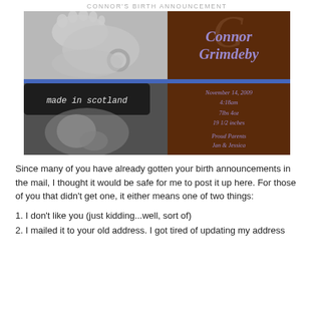CONNOR'S BIRTH ANNOUNCEMENT
[Figure (photo): Birth announcement card. Left side: two black-and-white photos (top: baby feet/foot with rings, bottom: baby wearing 'made in scotland' hat sleeping). Right side: brown background with purple italic text reading 'Connor Grimdeby', birth details: November 14, 2009, 4:18am, 7lbs 4oz, 19 1/2 inches, Proud Parents Jan & Jessica. Blue horizontal stripe separating the two photo sections.]
Since many of you have already gotten your birth announcements in the mail, I thought it would be safe for me to post it up here. For those of you that didn't get one, it either means one of two things:
1. I don't like you (just kidding...well, sort of)
2. I mailed it to your old address. I got tired of updating my address